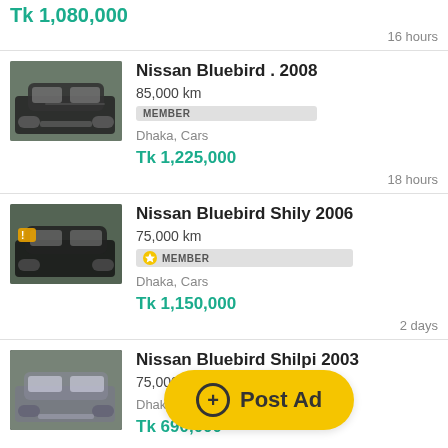Tk 1,080,000
16 hours
Nissan Bluebird . 2008 | 85,000 km | MEMBER | Dhaka, Cars | Tk 1,225,000 | 18 hours
Nissan Bluebird Shily 2006 | 75,000 km | MEMBER | Dhaka, Cars | Tk 1,150,000 | 2 days
Nissan Bluebird Shilpi 2003 | 75,000 km | Dhaka, Cars | Tk 690,000